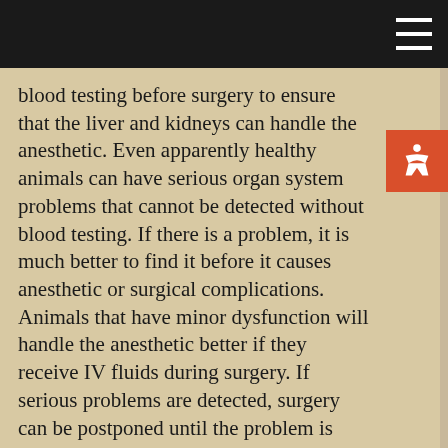blood testing before surgery to ensure that the liver and kidneys can handle the anesthetic.  Even apparently healthy animals can have serious organ system problems that cannot be detected without blood testing.  If there is a problem, it is much better to find it before it causes anesthetic or surgical complications.  Animals that have minor dysfunction will handle the anesthetic better if they receive IV fluids during surgery.  If serious problems are detected, surgery can be postponed until the problem is corrected.
We offer three levels of in-house blood testing before surgery, which we will go over with you when you bring your pet in.  Our doctors prefer the more comprehensive screen, because it gives them the most information to ensure the safety of your pet.  For geriatric or ill pets, additional blood tests, electrocardiograms, or x-rays may be required before surgery as well.